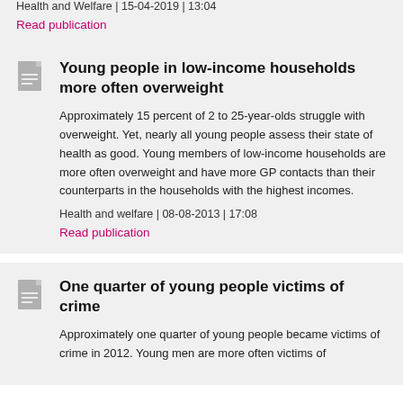Health and Welfare | 15-04-2019 | 13:04
Read publication
Young people in low-income households more often overweight
Approximately 15 percent of 2 to 25-year-olds struggle with overweight. Yet, nearly all young people assess their state of health as good. Young members of low-income households are more often overweight and have more GP contacts than their counterparts in the households with the highest incomes.
Health and welfare | 08-08-2013 | 17:08
Read publication
One quarter of young people victims of crime
Approximately one quarter of young people became victims of crime in 2012. Young men are more often victims of